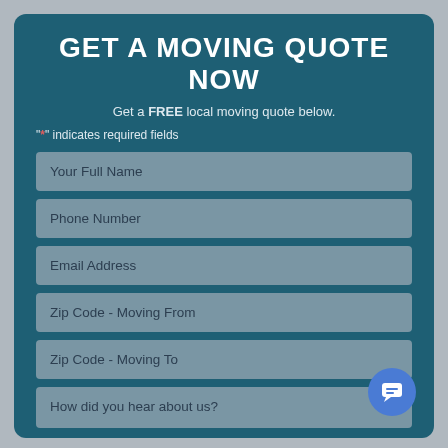GET A MOVING QUOTE NOW
Get a FREE local moving quote below.
"*" indicates required fields
Your Full Name
Phone Number
Email Address
Zip Code - Moving From
Zip Code - Moving To
How did you hear about us?